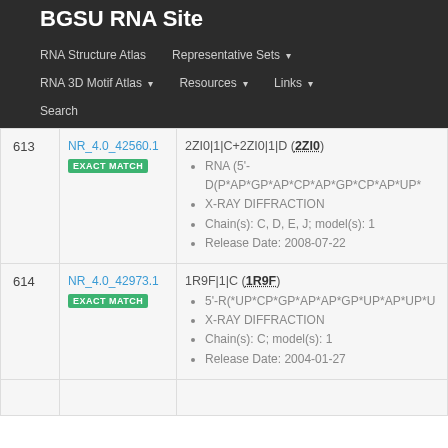BGSU RNA Site
RNA Structure Atlas
Representative Sets
RNA 3D Motif Atlas
Resources
Links
Search
| # | ID | Info |
| --- | --- | --- |
| 613 | NR_4.0_42560.1 EXACT MATCH | 2ZI0|1|C+2ZI0|1|D (2ZI0)
• RNA (5'-D(P*AP*GP*AP*CP*AP*GP*CP*AP*UP*
• X-RAY DIFFRACTION
• Chain(s): C, D, E, J; model(s): 1
• Release Date: 2008-07-22 |
| 614 | NR_4.0_42973.1 EXACT MATCH | 1R9F|1|C (1R9F)
• 5'-R(*UP*CP*GP*AP*AP*GP*UP*AP*UP*U
• X-RAY DIFFRACTION
• Chain(s): C; model(s): 1
• Release Date: 2004-01-27 |